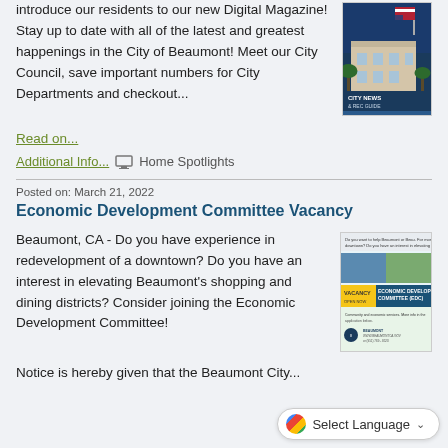introduce our residents to our new Digital Magazine! Stay up to date with all of the latest and greatest happenings in the City of Beaumont! Meet our City Council, save important numbers for City Departments and checkout...
[Figure (photo): City News & Rec Guide magazine cover showing a building with a flag and palm trees]
Read on...
Additional Info... Home Spotlights
Posted on: March 21, 2022
Economic Development Committee Vacancy
Beaumont, CA - Do you have experience in redevelopment of a downtown? Do you have an interest in elevating Beaumont's shopping and dining districts? Consider joining the Economic Development Committee!
[Figure (photo): Economic Development Committee vacancy flyer with images of downtown and committee details]
Notice is hereby given that the Beaumont City...